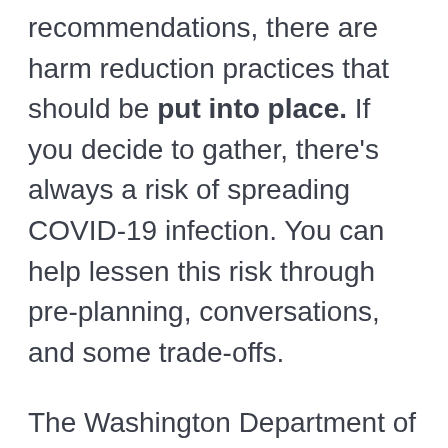recommendations, there are harm reduction practices that should be put into place. If you decide to gather, there's always a risk of spreading COVID-19 infection. You can help lessen this risk through pre-planning, conversations, and some trade-offs.
The Washington Department of Health has a great safety checklist for those planning to gather this holiday season. It comes down to three steps: 1) planning before; 2) planning during; and 3) planning...